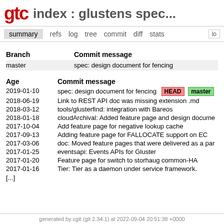gtc index : glustens spec
summary refs log tree commit diff stats lo
| Branch | Commit message |
| --- | --- |
| master | spec: design document for fencing |
| Age | Commit message |
| --- | --- |
| 2019-01-10 | spec: design document for fencing HEAD master |
| 2018-06-19 | Link to REST API doc was missing extension .md |
| 2018-03-12 | tools/glusterfind: integration with Bareos |
| 2018-01-18 | cloudArchival: Added feature page and design docume |
| 2017-10-04 | Add feature page for negative lookup cache |
| 2017-09-13 | Adding feature page for FALLOCATE support on EC |
| 2017-03-06 | doc: Moved feature pages that were delivered as a par |
| 2017-01-25 | eventsapi: Events APIs for Gluster |
| 2017-01-20 | Feature page for switch to storhaug common-HA |
| 2017-01-16 | Tier: Tier as a daemon under service framework. |
[...]
generated by cgit (git 2.34.1) at 2022-09-04 20:51:38 +0000